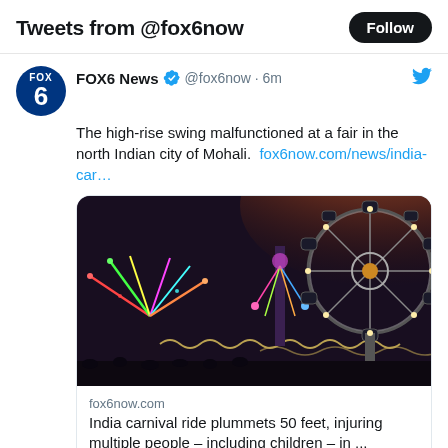Tweets from @fox6now
FOX6 News @fox6now · 6m
The high-rise swing malfunctioned at a fair in the north Indian city of Mohali. fox6now.com/news/india-car…
[Figure (photo): Nighttime photo of a carnival/fairground with illuminated rides including a large Ferris wheel and colorful swing ride against a dark sky with a warm glow on the horizon.]
fox6now.com
India carnival ride plummets 50 feet, injuring multiple people – including children – in ...